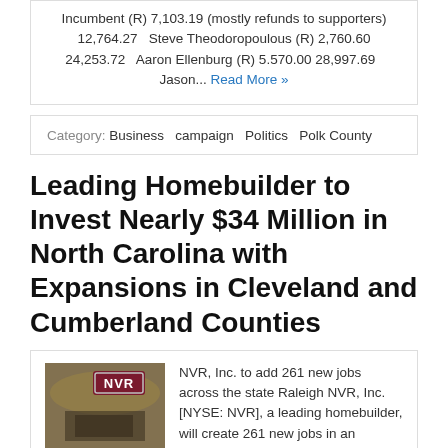Incumbent (R) 7,103.19 (mostly refunds to supporters) 12,764.27 Steve Theodoropoulous (R) 2,760.60 24,253.72 Aaron Ellenburg (R) 5.570.00 28,997.69 Jason... Read More »
Category: Business campaign Politics Polk County
Leading Homebuilder to Invest Nearly $34 Million in North Carolina with Expansions in Cleveland and Cumberland Counties
[Figure (photo): Aerial photograph of a building/facility with NVR logo overlay in dark red/maroon with white text]
NVR, Inc. to add 261 new jobs across the state Raleigh NVR, Inc. [NYSE: NVR], a leading homebuilder, will create 261 new jobs in an expansion involving